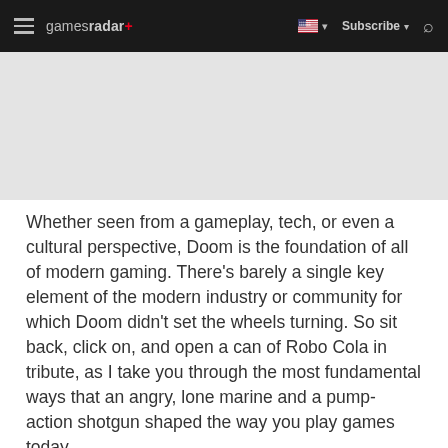gamesradar+ | Subscribe | Search
[Figure (other): Gray advertisement/banner placeholder area below the navigation header]
Whether seen from a gameplay, tech, or even a cultural perspective, Doom is the foundation of all of modern gaming. There's barely a single key element of the modern industry or community for which Doom didn't set the wheels turning. So sit back, click on, and open a can of Robo Cola in tribute, as I take you through the most fundamental ways that an angry, lone marine and a pump-action shotgun shaped the way you play games today.